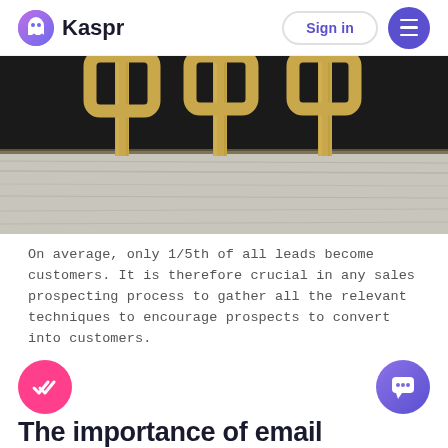Kaspr | Sign in
[Figure (photo): Close-up photo of gold/wooden stakes or signage sticks against a dark background with a weathered white wooden surface below]
On average, only 1/5th of all leads become customers. It is therefore crucial in any sales prospecting process to gather all the relevant techniques to encourage prospects to convert into customers.
The importance of email